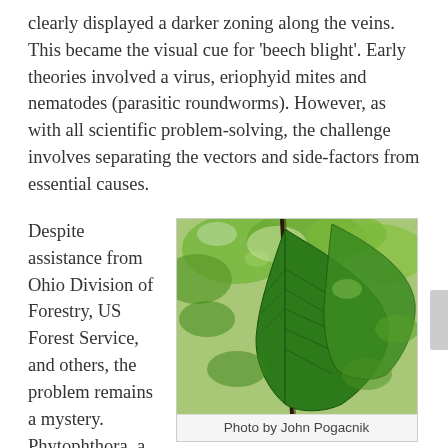clearly displayed a darker zoning along the veins. This became the visual cue for 'beech blight'. Early theories involved a virus, eriophyid mites and nematodes (parasitic roundworms). However, as with all scientific problem-solving, the challenge involves separating the vectors and side-factors from essential causes.
Despite assistance from Ohio Division of Forestry, US Forest Service, and others, the problem remains a mystery. Phytophthora, a fungus wreaking
[Figure (photo): Close-up photo of a large green beech leaf hanging from a branch, with other green foliage visible in the background. Photo taken looking upward through the tree canopy.]
Photo by John Pogacnik